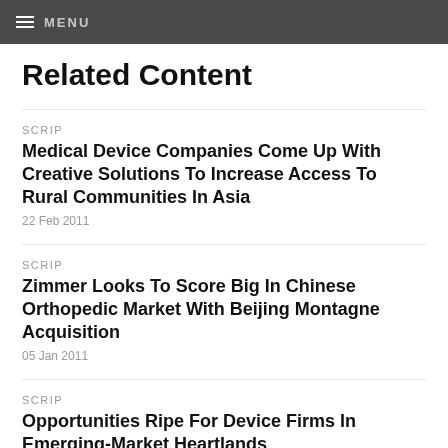MENU
Related Content
SCRIP
Medical Device Companies Come Up With Creative Solutions To Increase Access To Rural Communities In Asia
22 Feb 2011
SCRIP
Zimmer Looks To Score Big In Chinese Orthopedic Market With Beijing Montagne Acquisition
05 Jan 2011
SCRIP
Opportunities Ripe For Device Firms In Emerging-Market Heartlands
14 Oct 2010